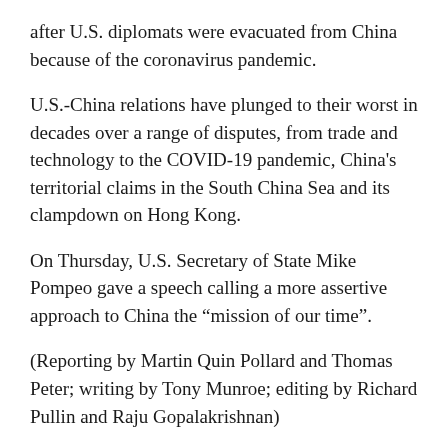after U.S. diplomats were evacuated from China because of the coronavirus pandemic.
U.S.-China relations have plunged to their worst in decades over a range of disputes, from trade and technology to the COVID-19 pandemic, China's territorial claims in the South China Sea and its clampdown on Hong Kong.
On Thursday, U.S. Secretary of State Mike Pompeo gave a speech calling a more assertive approach to China the “mission of our time”.
(Reporting by Martin Quin Pollard and Thomas Peter; writing by Tony Munroe; editing by Richard Pullin and Raju Gopalakrishnan)